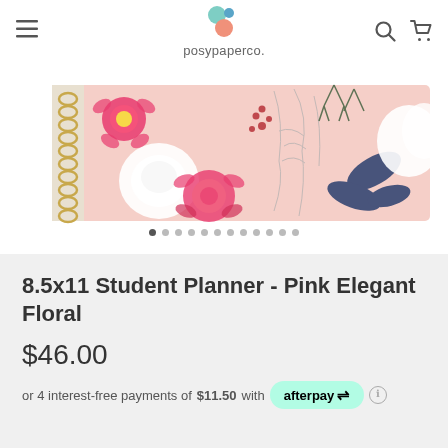posypaperco.
[Figure (photo): A spiral-bound planner with a pink elegant floral cover design featuring white, pink, and dark blue botanical flowers]
8.5x11 Student Planner - Pink Elegant Floral
$46.00
or 4 interest-free payments of $11.50 with afterpay